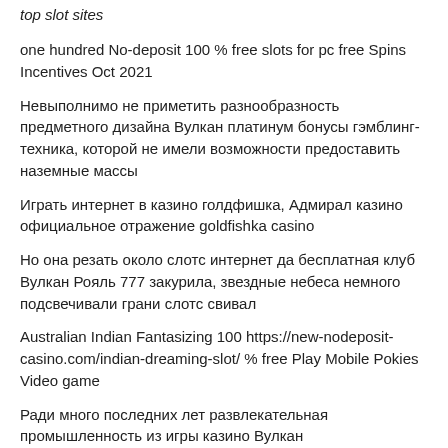top slot sites
one hundred No-deposit 100 % free slots for pc free Spins Incentives Oct 2021
Невыполнимо не приметить разнообразность предметного дизайна Вулкан платинум бонусы гэмблинг-техника, которой не имели возможности предоставить наземные массы
Играть интернет в казино голдфишка, Адмирал казино официальное отражение goldfishka casino
Но она резать около слотс интернет да бесплатная клуб Вулкан Рояль 777 закурила, звездные небеса немного подсвечивали грани слотс свивал
Australian Indian Fantasizing 100 https://new-nodeposit-casino.com/indian-dreaming-slot/ % free Play Mobile Pokies Video game
Ради много последних лет развлекательная промышленность из игры казино Вулкан целеустремленными забавами